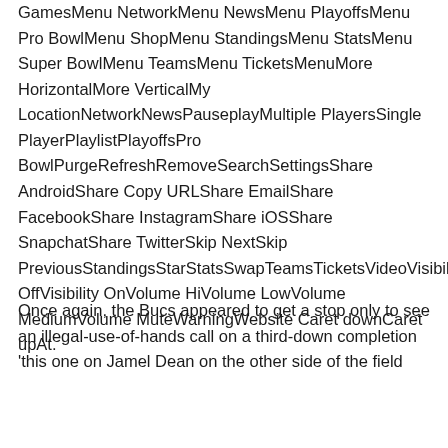GamesMenu NetworkMenu NewsMenu PlayoffsMenu Pro BowlMenu ShopMenu StandingsMenu StatsMenu Super BowlMenu TeamsMenu TicketsMenuMore HorizontalMore VerticalMy LocationNetworkNewsPauseplayMultiple PlayersSingle PlayerPlaylistPlayoffsPro BowlPurgeRefreshRemoveSearchSettingsShare AndroidShare Copy URLShare EmailShare FacebookShare InstagramShare iOSShare SnapchatShare TwitterSkip NextSkip PreviousStandingsStarStatsSwapTeamsTicketsVideoVisibility OffVisibility OnVolume HiVolume LowVolume MediumVolume MuteWarningWebsite Caret downCaret upAt.
Once again, the Bucs appeared to get a stop only to see an illegal-use-of-hands call on a third-down completion 'this one on Jamel Dean on the other side of the field